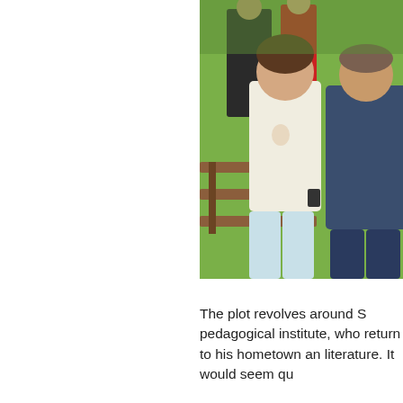[Figure (photo): Two people (a woman in a white t-shirt and light pants, and a man in a dark blue polo shirt and navy shorts) posing together outdoors near a wooden bench with green trees and other people visible in the background.]
The plot revolves around S pedagogical institute, who return to his hometown an literature. It would seem qu